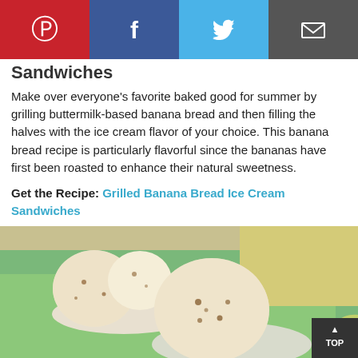[Figure (screenshot): Social sharing bar with Pinterest (red), Facebook (blue), Twitter (light blue), and Email (dark gray) buttons]
Sandwiches
Make over everyone's favorite baked good for summer by grilling buttermilk-based banana bread and then filling the halves with the ice cream flavor of your choice. This banana bread recipe is particularly flavorful since the bananas have first been roasted to enhance their natural sweetness.
Get the Recipe: Grilled Banana Bread Ice Cream Sandwiches
[Figure (photo): Photo of scoops of ice cream in white bowls on a green tray with yellow background]